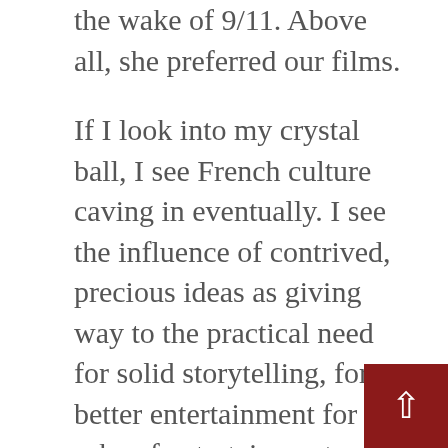the wake of 9/11. Above all, she preferred our films.
If I look into my crystal ball, I see French culture caving in eventually. I see the influence of contrived, precious ideas as giving way to the practical need for solid storytelling, for better entertainment for the sake of entertainment, not for the sake of being an amuse-cerveau. I see that the protectionism that covers the arts, which is more damaging than it is nurturing, will collapse. Or change in such a way that it is more in line with how Anglophone literature and entertainment is patronized, with an